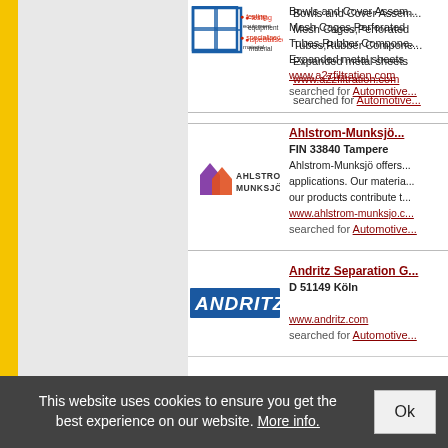[Figure (logo): A2Z Filtration logo (partial, top of page)]
Bowls and Cover Assem... Mesh Cages, Perforated Tubes, Rubber Compone... Expanded metal sheets www.a2zfiltration.com
searched for Automotive...
[Figure (logo): Ahlstrom-Munksjö logo — purple flame icon with AHLSTROM MUNKSJÖ text]
Ahlstrom-Munksjö
FIN 33840 Tampere
Ahlstrom-Munksjö offers... applications. Our materia... our products contribute t... www.ahlstrom-munksjo.c...
searched for Automotive...
[Figure (logo): Andritz logo — blue bold italic ANDRITZ text]
Andritz Separation G...
D 51149 Köln
www.andritz.com
searched for Automotive...
This website uses cookies to ensure you get the best experience on our website. More info.